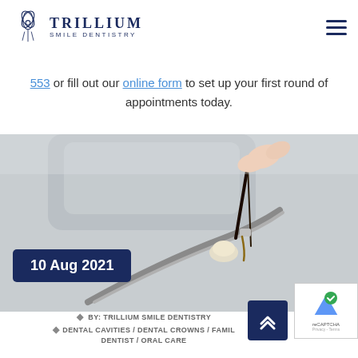Trillium Smile Dentistry
or fill out our online form to set up your first round of appointments today.
[Figure (photo): Close-up photo of dental crown being held by dental tweezers with a fine paintbrush applying coating, on a light gray background]
10 Aug 2021
BY: TRILLIUM SMILE DENTISTRY
DENTAL CAVITIES / DENTAL CROWNS / FAMILY DENTIST / ORAL CARE